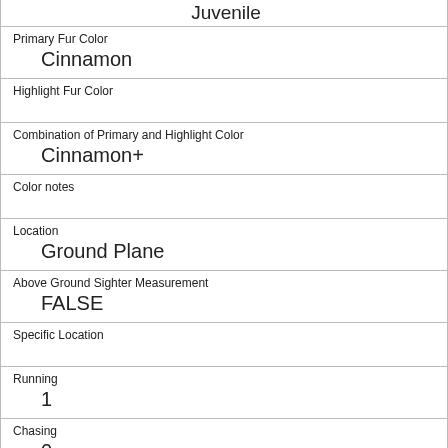| Juvenile |
| Primary Fur Color | Cinnamon |
| Highlight Fur Color |  |
| Combination of Primary and Highlight Color | Cinnamon+ |
| Color notes |  |
| Location | Ground Plane |
| Above Ground Sighter Measurement | FALSE |
| Specific Location |  |
| Running | 1 |
| Chasing | 0 |
| Climbing | 0 |